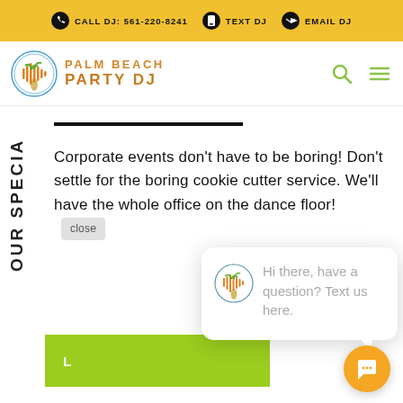CALL DJ: 561-220-8241   TEXT DJ   EMAIL DJ
[Figure (logo): Palm Beach Party DJ logo with circular emblem and brand name]
OUR SPECIA
Corporate events don't have to be boring! Don't settle for the boring cookie cutter service. We'll have the whole office on the dance floor!
[Figure (screenshot): Chat popup with Palm Beach Party DJ logo saying: Hi there, have a question? Text us here.]